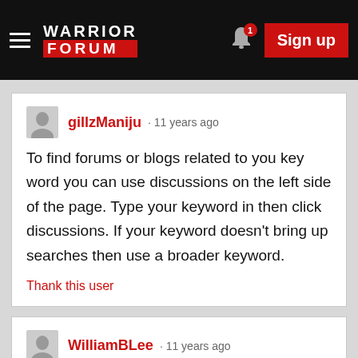Warrior Forum · Sign up
gillzManiju · 11 years ago

To find forums or blogs related to you key word you can use discussions on the left side of the page. Type your keyword in then click discussions. If your keyword doesn't bring up searches then use a broader keyword.

Thank this user
WilliamBLee · 11 years ago